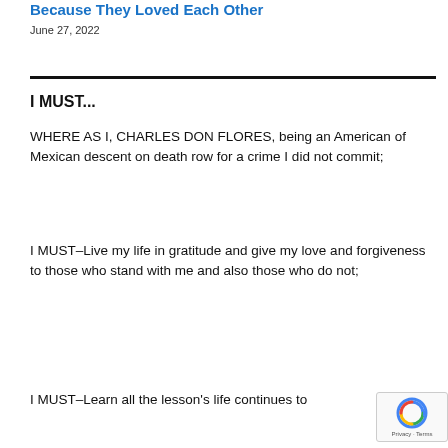Because They Loved Each Other
June 27, 2022
I MUST...
WHERE AS I, CHARLES DON FLORES, being an American of Mexican descent on death row for a crime I did not commit;
I MUST–Live my life in gratitude and give my love and forgiveness to those who stand with me and also those who do not;
I MUST–Learn all the lesson's life continues to